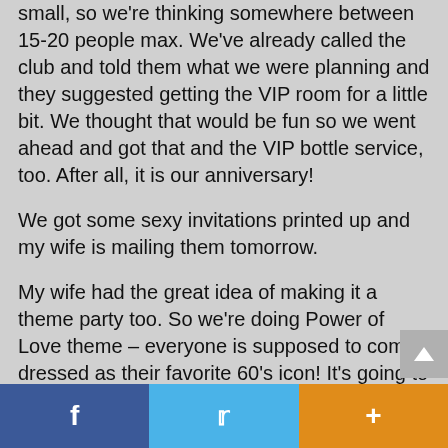small, so we're thinking somewhere between 15-20 people max. We've already called the club and told them what we were planning and they suggested getting the VIP room for a little bit. We thought that would be fun so we went ahead and got that and the VIP bottle service, too. After all, it is our anniversary!
We got some sexy invitations printed up and my wife is mailing them tomorrow.
My wife had the great idea of making it a theme party too. So we're doing Power of Love theme – everyone is supposed to come dressed as their favorite 60's icon! It's going to be pretty awesome.
Of course, we want to make sure that...